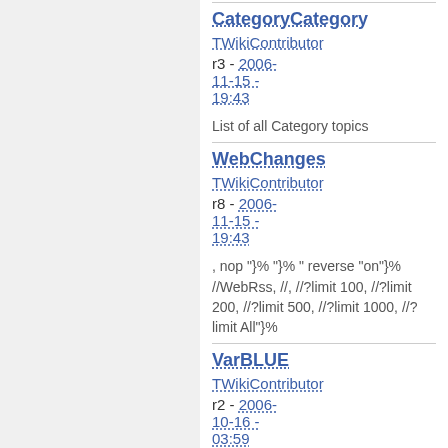CategoryCategory
TWikiContributor
r3 - 2006-11-15 - 19:43
List of all Category topics
WebChanges
TWikiContributor
r8 - 2006-11-15 - 19:43
, nop "%}% "}% " reverse "on"}% //WebRss, //, //?limit 100, //?limit 200, //?limit 500, //?limit 1000, //?limit All"}%
VarBLUE
TWikiContributor
r2 - 2006-10-16 - 03:59